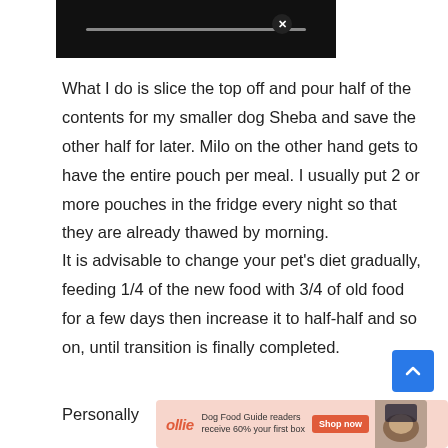[Figure (screenshot): Video player thumbnail — black bar with a grey progress bar]
What I do is slice the top off and pour half of the contents for my smaller dog Sheba and save the other half for later. Milo on the other hand gets to have the entire pouch per meal. I usually put 2 or more pouches in the fridge every night so that they are already thawed by morning.
It is advisable to change your pet's diet gradually, feeding 1/4 of the new food with 3/4 of old food for a few days then increase it to half-half and so on, until transition is finally completed.
Personally
[Figure (screenshot): Blue scroll-to-top button with upward chevron arrow icon]
[Figure (infographic): Advertisement banner for Ollie dog food with close button (x), ollie logo, text 'Dog Food Guide readers receive 60% your first box', Shop now button, and food image]